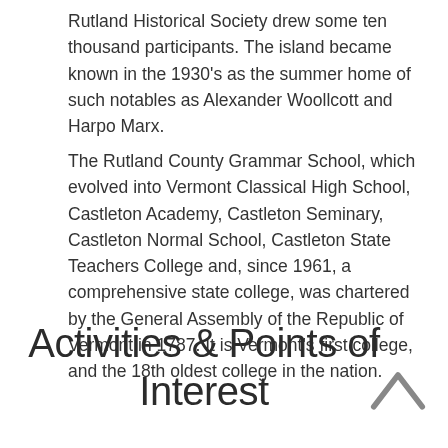Rutland Historical Society drew some ten thousand participants. The island became known in the 1930's as the summer home of such notables as Alexander Woollcott and Harpo Marx.
The Rutland County Grammar School, which evolved into Vermont Classical High School, Castleton Academy, Castleton Seminary, Castleton Normal School, Castleton State Teachers College and, since 1961, a comprehensive state college, was chartered by the General Assembly of the Republic of Vermont in 1787. It is Vermont's first college, and the 18th oldest college in the nation.
Activities & Points of Interest